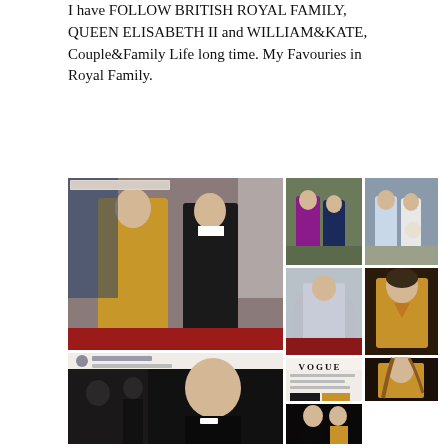I have FOLLOW BRITISH ROYAL FAMILY, QUEEN ELISABETH II and WILLIAM&KATE, Couple&Family Life long time. My Favouries in Royal Family.
[Figure (photo): Collage of photos of Prince William and Kate Middleton at various events, including formal red carpet appearances in evening wear (Kate in gold sequined gown, William in tuxedo), casual outings, and close-up portraits.]